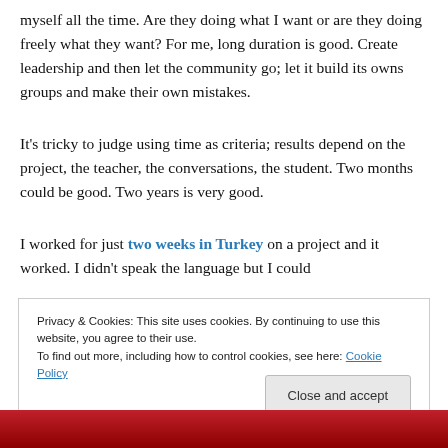myself all the time. Are they doing what I want or are they doing freely what they want? For me, long duration is good. Create leadership and then let the community go; let it build its owns groups and make their own mistakes.
It's tricky to judge using time as criteria; results depend on the project, the teacher, the conversations, the student. Two months could be good. Two years is very good.
I worked for just two weeks in Turkey on a project and it worked. I didn't speak the language but I could
Privacy & Cookies: This site uses cookies. By continuing to use this website, you agree to their use. To find out more, including how to control cookies, see here: Cookie Policy
[Figure (photo): Photo strip at the bottom of the page, showing a partial view of a person against a red background.]